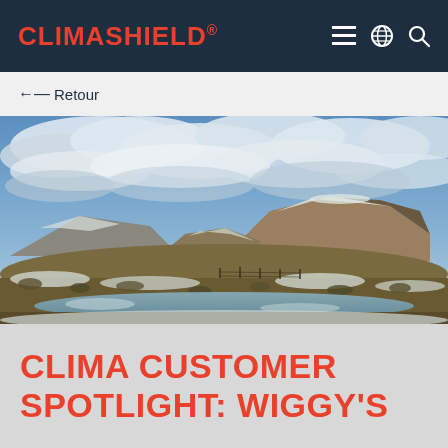CLIMASHIELD®
← Retour
[Figure (photo): Panoramic winter landscape photo showing snow-dusted mesa buttes and mesas under a dramatic cloudy blue sky, with scrubby vegetation and a partially frozen river or stream in the foreground.]
CLIMA CUSTOMER SPOTLIGHT: WIGGY'S